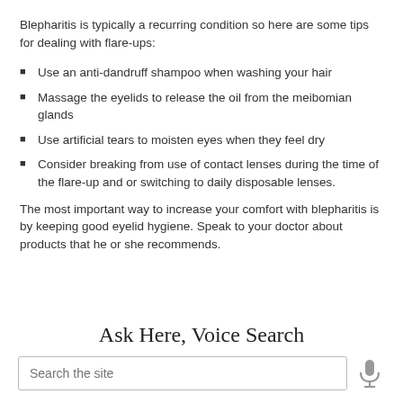Blepharitis is typically a recurring condition so here are some tips for dealing with flare-ups:
Use an anti-dandruff shampoo when washing your hair
Massage the eyelids to release the oil from the meibomian glands
Use artificial tears to moisten eyes when they feel dry
Consider breaking from use of contact lenses during the time of the flare-up and or switching to daily disposable lenses.
The most important way to increase your comfort with blepharitis is by keeping good eyelid hygiene. Speak to your doctor about products that he or she recommends.
Ask Here, Voice Search